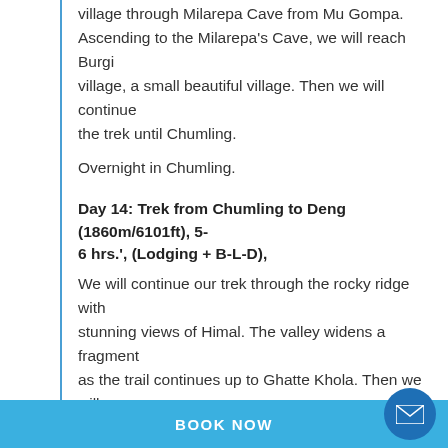village through Milarepa Cave from Mu Gompa. Ascending to the Milarepa's Cave, we will reach Burgi village, a small beautiful village. Then we will continue the trek until Chumling. Overnight in Chumling.
Day 14: Trek from Chumling to Deng (1860m/6101ft), 5-6 hrs.', (Lodging + B-L-D),
We will continue our trek through the rocky ridge with stunning views of Himal. The valley widens a fragment as the trail continues up to Ghatte Khola. Then we will hike through the old trail up to Pantsing and Nayak. These villages have some human settlements and a Manaslu Conservation Area Project office. The view of Mt. Lapuchun (5,950m) is also beautiful from Deng. Overnight in Deng.
BOOK NOW